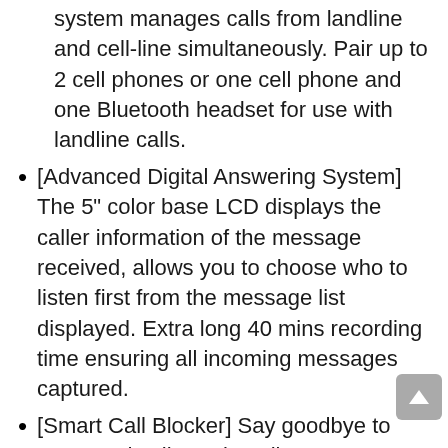system manages calls from landline and cell-line simultaneously. Pair up to 2 cell phones or one cell phone and one Bluetooth headset for use with landline calls.
[Advanced Digital Answering System] The 5" color base LCD displays the caller information of the message received, allows you to choose who to listen first from the message list displayed. Extra long 40 mins recording time ensuring all incoming messages captured.
[Smart Call Blocker] Say goodbye to unwanted calls. Robocalls on your landline are automatically blocked from ever ringing through—even the first time.